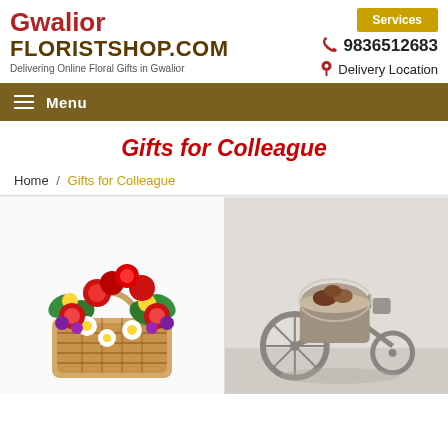Gwalior FLORISTSHOP.COM - Delivering Online Floral Gifts in Gwalior | Services | 9836512683 | Delivery Location
Menu
Gifts for Colleague
Home / Gifts for Colleague
[Figure (photo): Colorful flower basket arrangement with red carnations, white daisies, yellow flowers and purple blooms in a wicker basket]
[Figure (photo): Chocolate gift in a wicker basket mounted on a decorative tricycle/cycle-rickshaw figurine, light background]